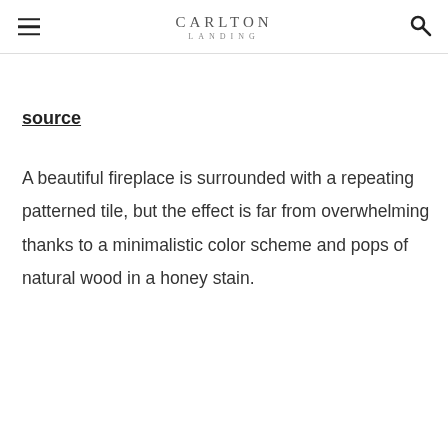CARLTON LANDING
source
A beautiful fireplace is surrounded with a repeating patterned tile, but the effect is far from overwhelming thanks to a minimalistic color scheme and pops of natural wood in a honey stain.